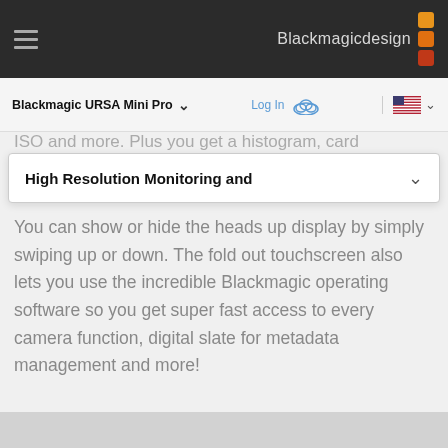Blackmagicdesign
Blackmagic URSA Mini Pro   Log In   [US flag]
ISO and more. Plus you get a histogram, card
High Resolution Monitoring and
You can show or hide the heads up display by simply swiping up or down. The fold out touchscreen also lets you use the incredible Blackmagic operating software so you get super fast access to every camera function, digital slate for metadata management and more!